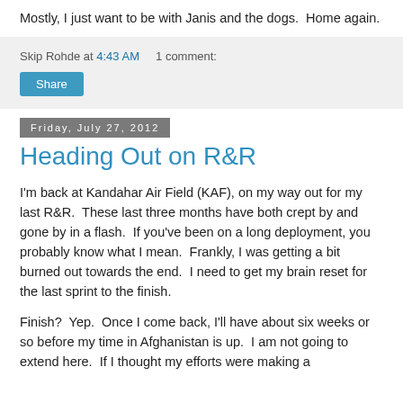Mostly, I just want to be with Janis and the dogs.  Home again.
Skip Rohde at 4:43 AM    1 comment:
Share
Friday, July 27, 2012
Heading Out on R&R
I'm back at Kandahar Air Field (KAF), on my way out for my last R&R.  These last three months have both crept by and gone by in a flash.  If you've been on a long deployment, you probably know what I mean.  Frankly, I was getting a bit burned out towards the end.  I need to get my brain reset for the last sprint to the finish.
Finish?  Yep.  Once I come back, I'll have about six weeks or so before my time in Afghanistan is up.  I am not going to extend here.  If I thought my efforts were making a...